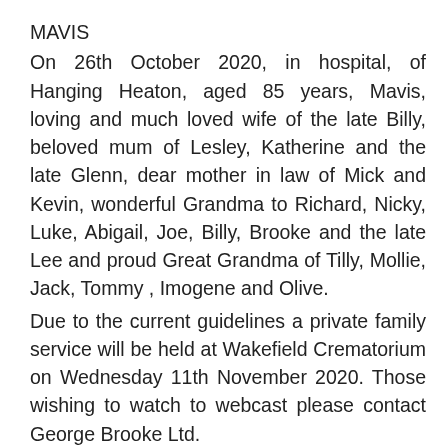MAVIS
On 26th October 2020, in hospital, of Hanging Heaton, aged 85 years, Mavis, loving and much loved wife of the late Billy, beloved mum of Lesley, Katherine and the late Glenn, dear mother in law of Mick and Kevin, wonderful Grandma to Richard, Nicky, Luke, Abigail, Joe, Billy, Brooke and the late Lee and proud Great Grandma of Tilly, Mollie, Jack, Tommy , Imogene and Olive.
Due to the current guidelines a private family service will be held at Wakefield Crematorium on Wednesday 11th November 2020. Those wishing to watch to webcast please contact George Brooke Ltd.
Donations in memory of Mavis may be made